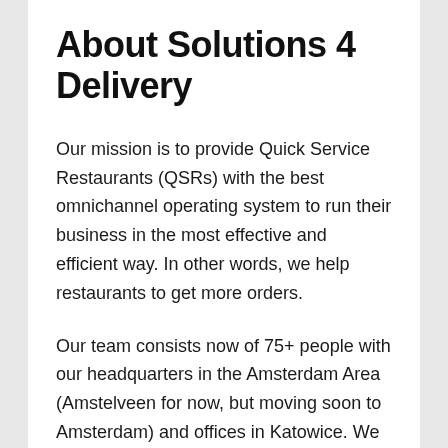About Solutions 4 Delivery
Our mission is to provide Quick Service Restaurants (QSRs) with the best omnichannel operating system to run their business in the most effective and efficient way. In other words, we help restaurants to get more orders.
Our team consists now of 75+ people with our headquarters in the Amsterdam Area (Amstelveen for now, but moving soon to Amsterdam) and offices in Katowice. We build and service innovative products based on the newest technologies, consisting of a wide variety of